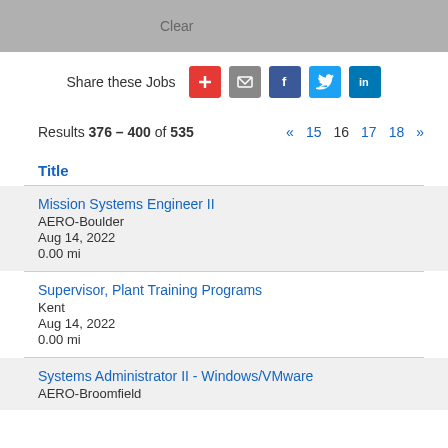Clear
Share these Jobs
Results 376 – 400 of 535  « 15 16 17 18 »
Title
Mission Systems Engineer II
AERO-Boulder
Aug 14, 2022
0.00 mi
Supervisor, Plant Training Programs
Kent
Aug 14, 2022
0.00 mi
Systems Administrator II - Windows/VMware
AERO-Broomfield